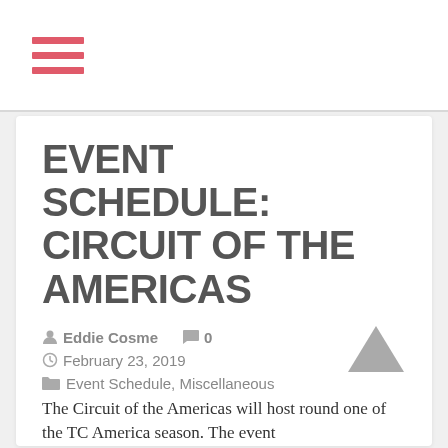[Figure (illustration): Hamburger menu icon with three horizontal pink/red bars]
EVENT SCHEDULE: CIRCUIT OF THE AMERICAS
Eddie Cosme   0   February 23, 2019   Event Schedule, Miscellaneous
The Circuit of the Americas will host round one of the TC America season. The event